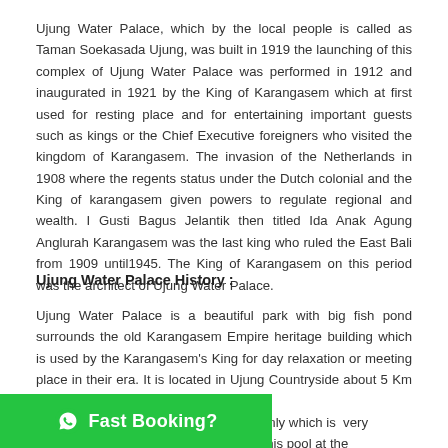Ujung Water Palace, which by the local people is called as Taman Soekasada Ujung, was built in 1919 the launching of this complex of Ujung Water Palace was performed in 1912 and inaugurated in 1921 by the King of Karangasem which at first used for resting place and for entertaining important guests such as kings or the Chief Executive foreigners who visited the kingdom of Karangasem. The invasion of the Netherlands in 1908 where the regents status under the Dutch colonial and the King of karangasem given powers to regulate regional and wealth. I Gusti Bagus Jelantik then titled Ida Anak Agung Anglurah Karangasem was the last king who ruled the East Bali from 1909 until1945. The King of Karangasem on this period was the architect of Ujung Water Palace.
Ujung Water Palace History :
Ujung Water Palace is a beautiful park with big fish pond surrounds the old Karangasem Empire heritage building which is used by the Karangasem's King for day relaxation or meeting place in their era. It is located in Ujung Countryside about 5 Km from Amlapura town. [partially obscured] ly met one pool only which is very [partially obscured] ed by Di Dirah and this pool at the period of I Gusti Gede Putu King (1849-1893) governance with his